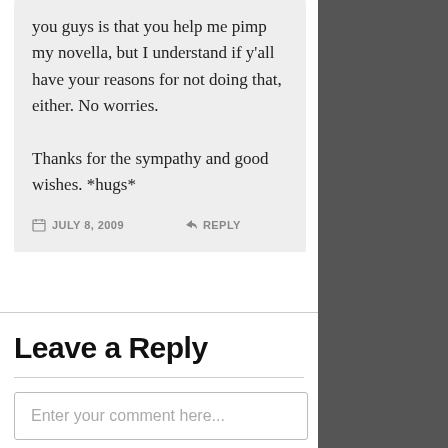you guys is that you help me pimp my novella, but I understand if y'all have your reasons for not doing that, either. No worries.
Thanks for the sympathy and good wishes. *hugs*
JULY 8, 2009   REPLY
Leave a Reply
Enter your comment here...